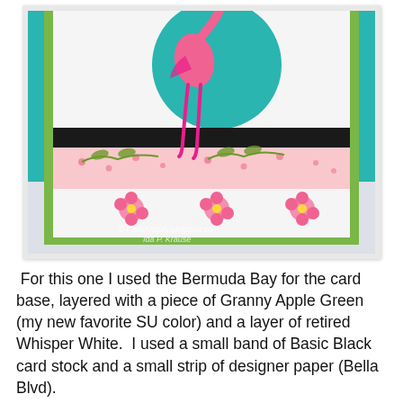[Figure (photo): A handmade greeting card featuring a flamingo stamp image. The card has a Bermuda Bay (teal) base, layered with Granny Apple Green and Whisper White. A black band and a pink polka-dot designer paper strip (Bella Blvd) run horizontally across the middle. A pink flamingo cut-out stands on the strip with a large teal circle behind it. Three small pink flowers are stamped on the lower white layer. Watermark reads '© FaithArtistry.blogspot.com Ida P. Krause'.]
For this one I used the Bermuda Bay for the card base, layered with a piece of Granny Apple Green (my new favorite SU color) and a layer of retired Whisper White.  I used a small band of Basic Black card stock and a small strip of designer paper (Bella Blvd).
I stamped the flamingo from SU's (Friendly Flamingo) stamp set with Melon Mambo Ink and used the